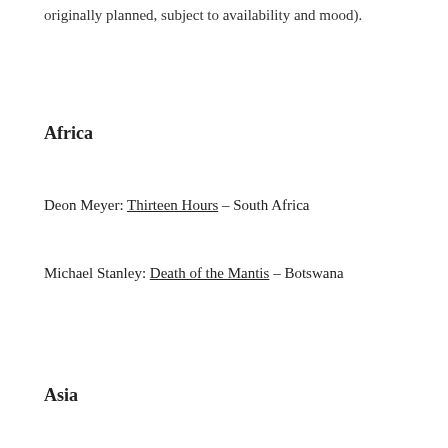originally planned, subject to availability and mood).
Africa
Deon Meyer: Thirteen Hours – South Africa
Michael Stanley: Death of the Mantis – Botswana
Asia